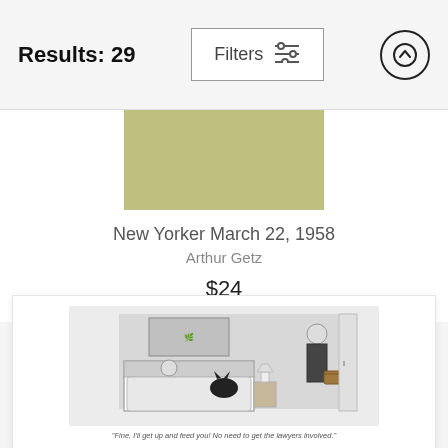Results: 29
Filters
[Figure (illustration): Olive/khaki colored rectangular image placeholder at the top of a product card]
New Yorker March 22, 1958
Arthur Getz
$24
[Figure (illustration): New Yorker cartoon printed on a product (towel/blanket). Scene shows a person in bed with a black cat, and a man in a suit with briefcase standing at the door.]
"Fine, I'll get up and feed you! No need to get the lawyers involved."